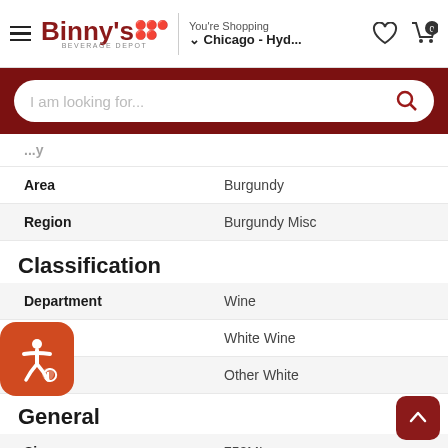Binny's Beverage Depot — You're Shopping: Chicago - Hyd...
I am looking for...
|  |  |
| --- | --- |
| Area | Burgundy |
| Region | Burgundy Misc |
Classification
|  |  |
| --- | --- |
| Department | Wine |
| Type | White Wine |
| Varietal | Other White |
General
|  |  |
| --- | --- |
| Size | 750ML |
| Vintage | 2018 |